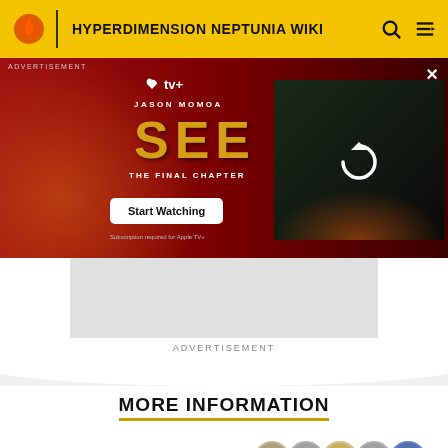HYPERDIMENSION NEPTUNIA WIKI
[Figure (screenshot): Apple TV+ advertisement for Jason Momoa's SEE: The Final Chapter with Start Watching button]
ADVERTISEMENT
MORE INFORMATION
Top Contributors